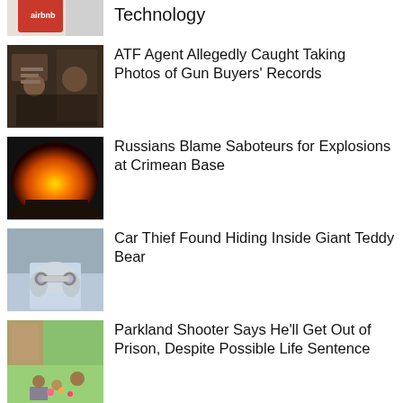[Figure (photo): Partially visible Airbnb app/card image, red background]
Technology
[Figure (photo): Two men at a gun store counter]
ATF Agent Allegedly Caught Taking Photos of Gun Buyers' Records
[Figure (photo): Large explosion fireball at a base]
Russians Blame Saboteurs for Explosions at Crimean Base
[Figure (photo): Person in handcuffs from behind]
Car Thief Found Hiding Inside Giant Teddy Bear
[Figure (photo): People gathered at outdoor memorial, Parkland]
Parkland Shooter Says He’ll Get Out of Prison, Despite Possible Life Sentence